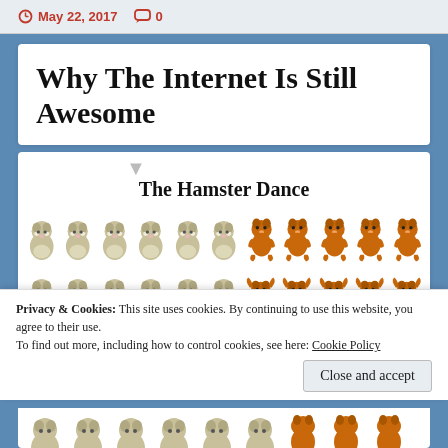May 22, 2017  0
Why The Internet Is Still Awesome
The Hamster Dance
[Figure (illustration): Grid of animated hamster dance GIF characters — grey sitting hamsters on the left columns and orange dancing/running hamsters on the right columns, arranged in multiple rows]
Privacy & Cookies: This site uses cookies. By continuing to use this website, you agree to their use.
To find out more, including how to control cookies, see here: Cookie Policy
Close and accept